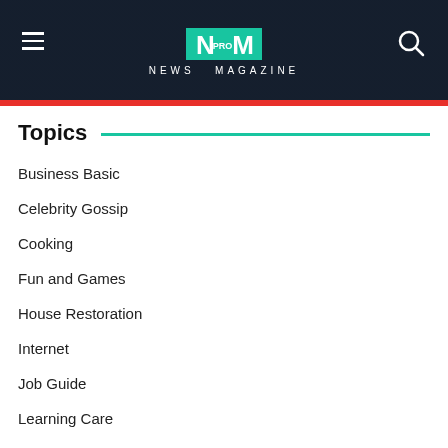NEWS MAGAZINE
Topics
Business Basic
Celebrity Gossip
Cooking
Fun and Games
House Restoration
Internet
Job Guide
Learning Care
Pet
Readers Choice
Shopping